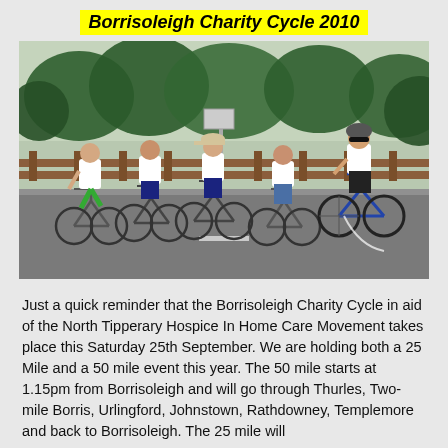Borrisoleigh Charity Cycle 2010
[Figure (photo): Group of five cyclists riding bicycles on a road, all wearing white t-shirts. A man with a helmet and sunglasses leads on the right on a blue racing bicycle. Four riders follow on the left including a woman with a cap, a younger male, and a woman in jeans. Wooden fence and trees in background.]
Just a quick reminder that the Borrisoleigh Charity Cycle in aid of the North Tipperary Hospice In Home Care Movement takes place this Saturday 25th September. We are holding both a 25 Mile and a 50 mile event this year. The 50 mile starts at 1.15pm from Borrisoleigh and will go through Thurles, Two-mile Borris, Urlingford, Johnstown, Rathdowney, Templemore and back to Borrisoleigh. The 25 mile will